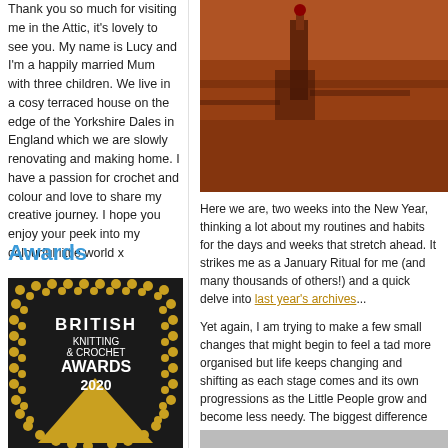Thank you so much for visiting me in the Attic, it's lovely to see you. My name is Lucy and I'm a happily married Mum with three children. We live in a cosy terraced house on the edge of the Yorkshire Dales in England which we are slowly renovating and making home. I have a passion for crochet and colour and love to share my creative journey. I hope you enjoy your peek into my colourful little world x
Awards
[Figure (logo): British Knitting & Crochet Awards 2020 badge with gold dots border and gold triangle]
[Figure (photo): Aerial/rooftop reddish-brown toned photo showing rooftops and a chimney]
Here we are, two weeks into the New Year, thinking a lot about my routines and habits for the days and weeks that stretch ahead. It strikes me as a January Ritual for me (and many thousands of others!) and a quick delve into last year's archives...
Yet again, I am trying to make a few small changes that might begin to feel a tad more organised but life keeps changing and shifting as each stage comes and its own progressions as the Little People grow and become less needy. The biggest difference for me is that all are in school - those six child-free hours still feel vast, I'm not wasting them. I've lots of plans, ideas that need to rally into some sort of order, but for the rest I'm in my studio.